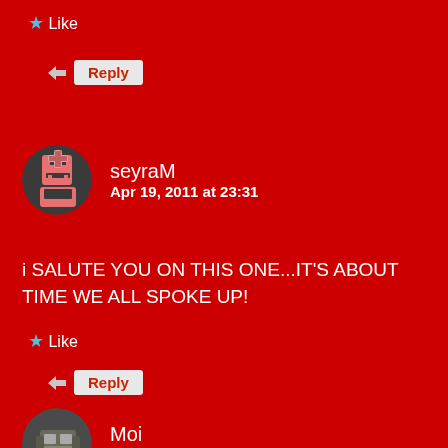Like
Reply
seyraM
Apr 19, 2011 at 23:31
i SALUTE YOU ON THIS ONE...IT'S ABOUT TIME WE ALL SPOKE UP!
Like
Reply
Moi
Apr 21, 2011 at 13:05